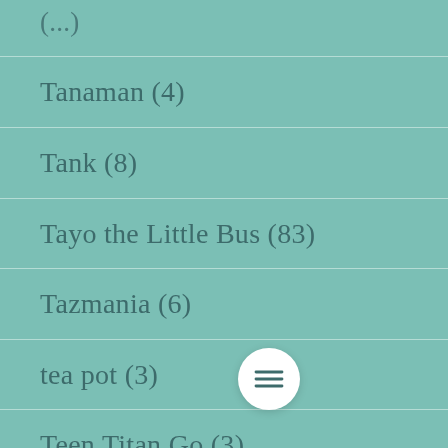Tanaman (4)
Tank (8)
Tayo the Little Bus (83)
Tazmania (6)
tea pot (3)
Teen Titan Go (3)
Teletubbies (55)
Tentara (17)